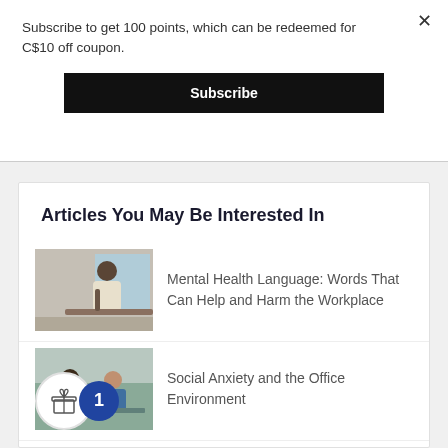Subscribe to get 100 points, which can be redeemed for C$10 off coupon.
Subscribe
Articles You May Be Interested In
Mental Health Language: Words That Can Help and Harm the Workplace
Social Anxiety and the Office Environment
He/She/They: Gender Identity and Expression in the Workplace